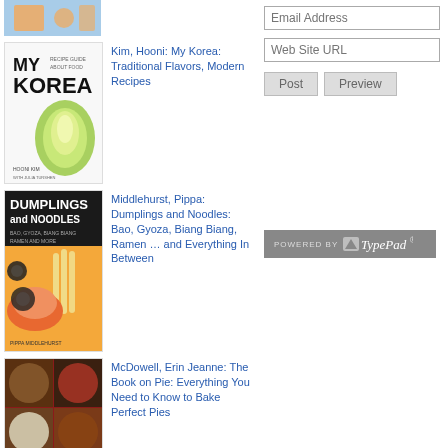[Figure (photo): Partial book cover visible at top left, colorful illustration]
Kim, Hooni: My Korea: Traditional Flavors, Modern Recipes
[Figure (photo): Book cover of My Korea by Hooni Kim, showing a napa cabbage on white background with bold black text]
Middlehurst, Pippa: Dumplings and Noodles: Bao, Gyoza, Biang Biang, Ramen … and Everything In Between
[Figure (photo): Book cover of Dumplings and Noodles by Pippa Middlehurst, orange background with bold graphic illustrations]
McDowell, Erin Jeanne: The Book on Pie: Everything You Need to Know to Bake Perfect Pies
[Figure (photo): Book cover of The Book on Pie by Erin Jeanne McDowell, showing various pies photographed from above]
[Figure (photo): Partial book cover at bottom, partially visible]
Email Address
Web Site URL
Post   Preview
[Figure (logo): Powered by TypePad badge, grey background with TypePad logo]